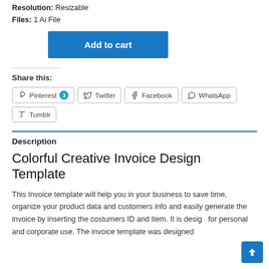Resolution: Resizable
Files: 1 Ai File
Add to cart
Share this:
Pinterest 3
Twitter
Facebook
WhatsApp
Tumblr
Description
Colorful Creative Invoice Design Template
This Invoice template will help you in your business to save time, organize your product data and customers info and easily generate the invoice by inserting the costumers ID and Item. It is designed for personal and corporate use. The invoice template was designed